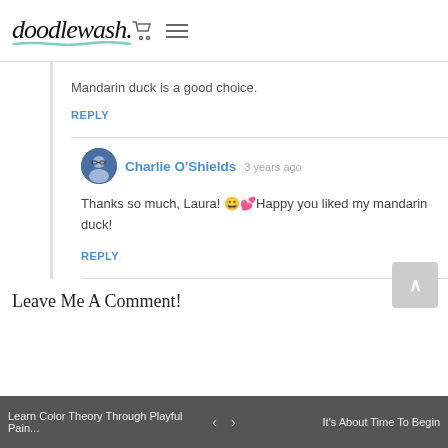doodlewash.
Mandarin duck is a good choice.
REPLY
Charlie O'Shields 3 years ago
Thanks so much, Laura! 😀💕Happy you liked my mandarin duck!
REPLY
Leave Me A Comment!
Learn Color Theory Through Playful Pain... < > It's About Time To Begin